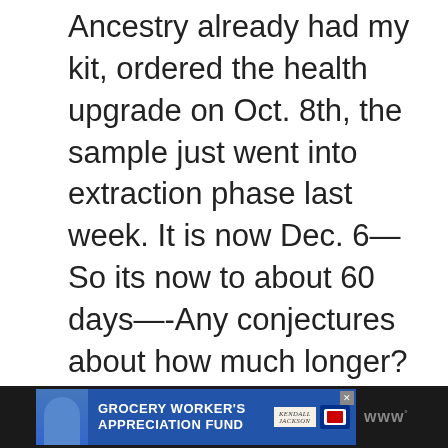Ancestry already had my kit, ordered the health upgrade on Oct. 8th, the sample just went into extraction phase last week. It is now Dec. 6—So its now to about 60 days—-Any conjectures about how much longer? Feels like its taking forever. It actually Does seem long compared to some of these other timelines—-any thoughts? Thanks.
[Figure (screenshot): Advertisement banner for Grocery Worker's Appreciation Fund featuring Kendall Jackson and United Way logos, with a person image on the left, set against a dark background with a WW logo on the right.]